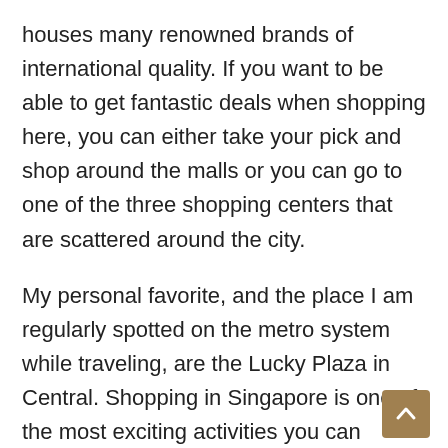houses many renowned brands of international quality. If you want to be able to get fantastic deals when shopping here, you can either take your pick and shop around the malls or you can go to one of the three shopping centers that are scattered around the city.
My personal favorite, and the place I am regularly spotted on the metro system while traveling, are the Lucky Plaza in Central. Shopping in Singapore is one of the most exciting activities you can indulge in, especially if you want to get some great and useful gadgets bargains.
One popular area to do is outdoors in the many shopping centers that are set in green gardens and man-made lakes. For example, there is the Shenton Park LCC, an indoor/outdoor mall that has various shops, restaurants,